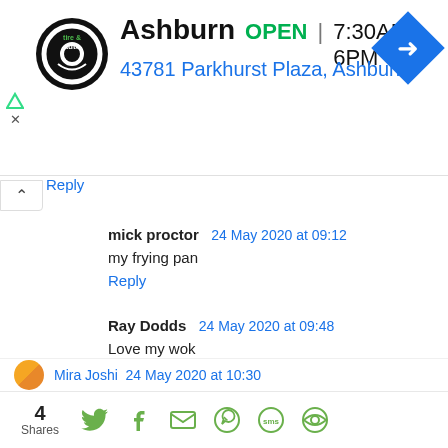[Figure (screenshot): Ad banner for Virginia Tire & Auto. Logo on left (circular black badge). Text: Ashburn OPEN | 7:30AM–6PM and address 43781 Parkhurst Plaza, Ashburn. Blue navigation arrow icon on right.]
Reply (partial, truncated at top)
mick proctor  24 May 2020 at 09:12
my frying pan
Reply
Ray Dodds  24 May 2020 at 09:48
Love my wok
Reply
Mira Joshi  24 May 2020 at 10:30 (partially visible)
4 Shares